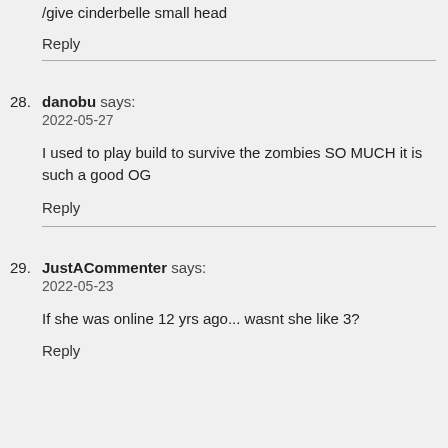/give cinderbelle small head
Reply
28. danobu says:
2022-05-27
I used to play build to survive the zombies SO MUCH it is such a good OG
Reply
29. JustACommenter says:
2022-05-23
If she was online 12 yrs ago... wasnt she like 3?
Reply